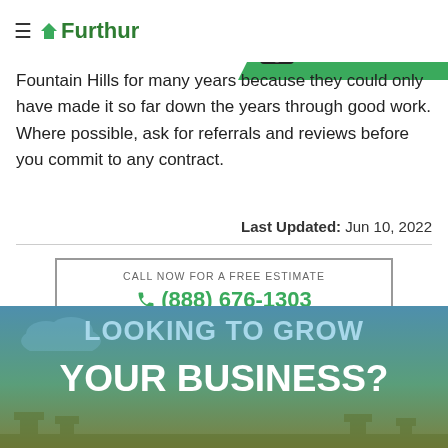Furthur — FREE ESTIMATE (888) 676-1303
Fountain Hills for many years because they could only have made it so far down the years through good work. Where possible, ask for referrals and reviews before you commit to any contract.
Last Updated: Jun 10, 2022
CALL NOW FOR A FREE ESTIMATE
☎ (888) 676-1303
[Figure (infographic): Banner image with text 'LOOKING TO GROW YOUR BUSINESS?' on a blue-green gradient background with landscape silhouette]